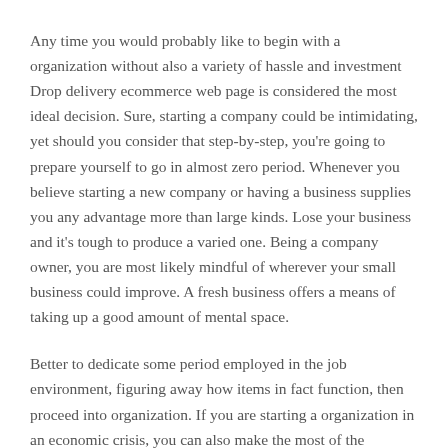Any time you would probably like to begin with a organization without also a variety of hassle and investment Drop delivery ecommerce web page is considered the most ideal decision. Sure, starting a company could be intimidating, yet should you consider that step-by-step, you're going to prepare yourself to go in almost zero period. Whenever you believe starting a new company or having a business supplies you any advantage more than large kinds. Lose your business and it's tough to produce a varied one. Being a company owner, you are most likely mindful of wherever your small business could improve. A fresh business offers a means of taking up a good amount of mental space.
Better to dedicate some period employed in the job environment, figuring away how items in fact function, then proceed into organization. If you are starting a organization in an economic crisis, you can also make the most of the lowered interest levels to take out a loan for the firm at a more affordable cost. In the first place, let's evaluate why it is actually which in turn you want